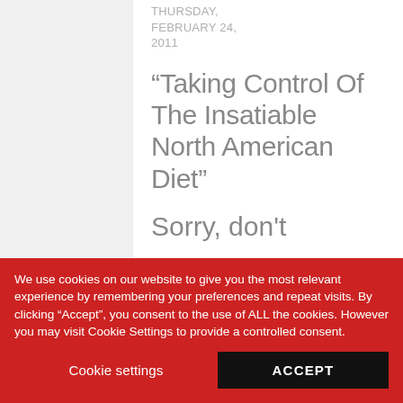THURSDAY, FEBRUARY 24, 2011
“Taking Control Of The Insatiable North American Diet”
Sorry, don't
We use cookies on our website to give you the most relevant experience by remembering your preferences and repeat visits. By clicking “Accept”, you consent to the use of ALL the cookies. However you may visit Cookie Settings to provide a controlled consent.
Cookie settings
ACCEPT